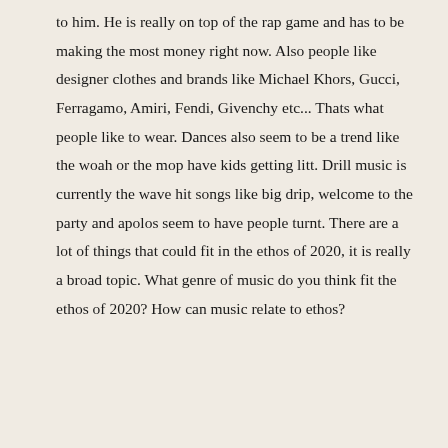to him. He is really on top of the rap game and has to be making the most money right now. Also people like designer clothes and brands like Michael Khors, Gucci, Ferragamo, Amiri, Fendi, Givenchy etc... Thats what people like to wear. Dances also seem to be a trend like the woah or the mop have kids getting litt. Drill music is currently the wave hit songs like big drip, welcome to the party and apolos seem to have people turnt. There are a lot of things that could fit in the ethos of 2020, it is really a broad topic. What genre of music do you think fit the ethos of 2020? How can music relate to ethos?